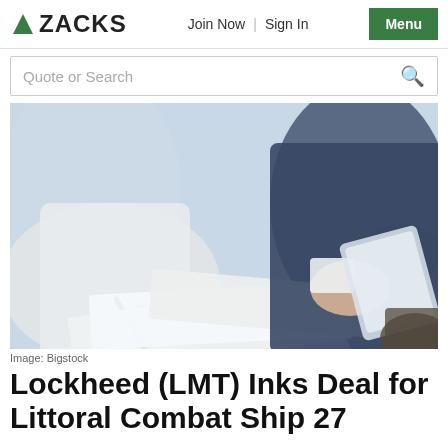ZACKS | Join Now | Sign In | Menu
Quote or Search
[Figure (photo): Two people in business attire reviewing and signing documents, one holding a pen writing on papers, another holding a tablet or folder. Close-up shot of hands and documents on a desk.]
Image: Bigstock
Lockheed (LMT) Inks Deal for Littoral Combat Ship 27